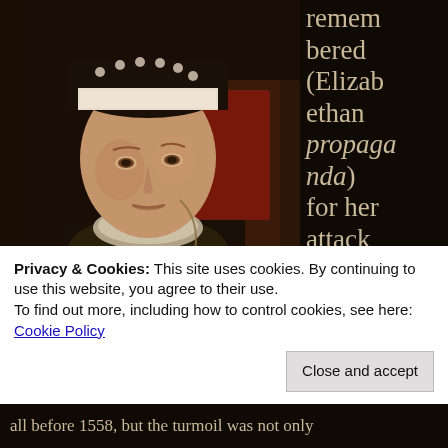[Figure (photo): Portrait painting of Queen Mary I of England, wearing black dress with lace collar and pearl headdress, facing forward with stern expression, against dark background]
remembered (Elizabethan propaganda) for her attack on the pro-Henry VIII oligarc[hy]
Privacy & Cookies: This site uses cookies. By continuing to use this website, you agree to their use.
To find out more, including how to control cookies, see here:
Cookie Policy
Close and accept
all before 1558, but the turmoil was not only